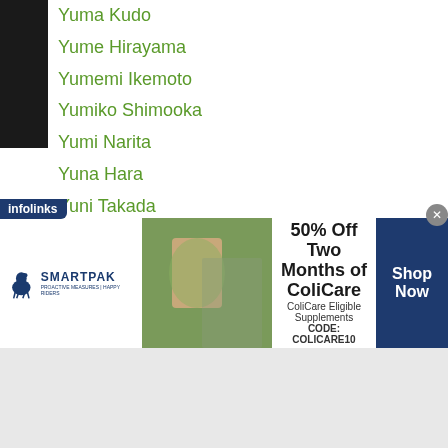Yuma Kudo
Yume Hirayama
Yumemi Ikemoto
Yumiko Shimooka
Yumi Narita
Yuna Hara
Yuni Takada
Yunoka Furukawa
Yun Seong Kim
Yuri Kanaya
Yuri Takemoto
Yusakukuga
Yusaku Kuga
Yusaku Sekishima
Yusei Fujikawa
Yutaka Tanaka
[Figure (infographic): SmartPak advertisement banner: 50% Off Two Months of ColiCare, ColiCare Eligible Supplements, CODE: COLICARE10, Shop Now button. Infolinks label visible.]